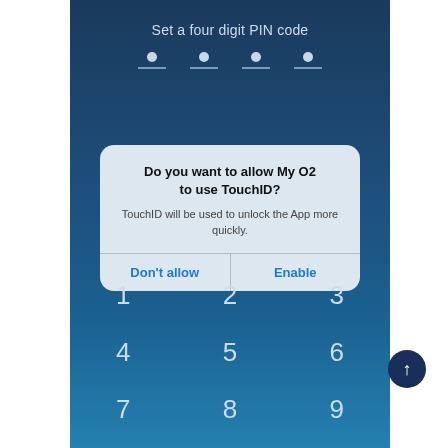[Figure (screenshot): Mobile phone screenshot showing a PIN code entry screen with the title 'Set a four digit PIN code', four dot/underline PIN indicators, a TouchID permission dialog asking 'Do you want to allow My O2 to use TouchID?' with options 'Don't allow' and 'Enable', and a numeric keypad showing digits 1-9.]